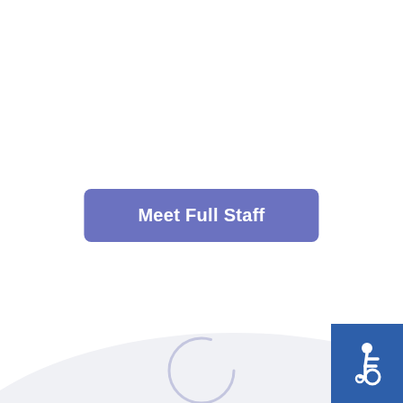[Figure (screenshot): A web page screenshot showing a 'Meet Full Staff' button in slate blue/purple, a loading spinner circle, an accessibility icon button in dark blue on the right edge, and a green badge reading 'Best Healing Doctors in Los Angeles' on a light gray curved background.]
Meet Full Staff
Best Healing Doctors in Los Angeles